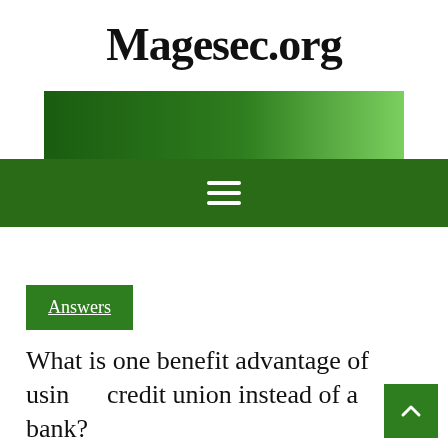Magesec.org
[Figure (other): Horizontal green gradient banner bar, dark green on left fading to light green on right]
[Figure (other): Dark green navigation bar with white hamburger menu icon (three horizontal lines)]
Answers
What is one benefit advantage of using a credit union instead of a bank?